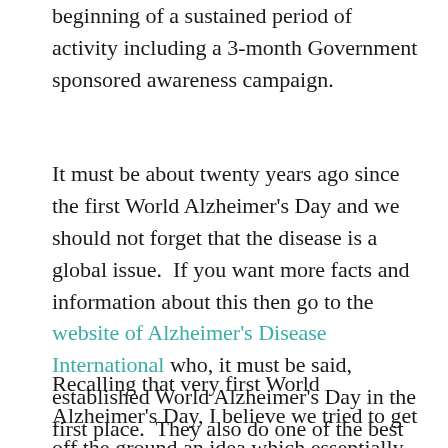beginning of a sustained period of activity including a 3-month Government sponsored awareness campaign.
It must be about twenty years ago since the first World Alzheimer's Day and we should not forget that the disease is a global issue.  If you want more facts and information about this then go to the website of Alzheimer's Disease International who, it must be said, established World Alzheimer's Day in the first place.  They also do one of the best international conferences going.
Recalling that very first World Alzheimer's Day, I believe we tried to get off the ground an idea which essentially involved passing a petition